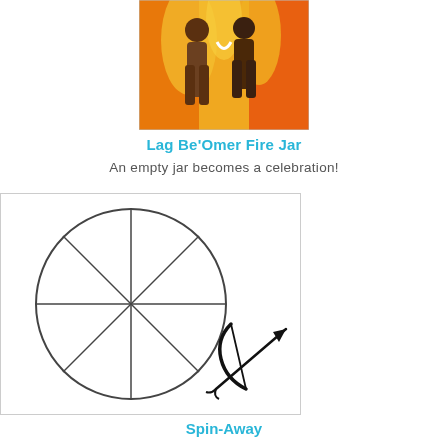[Figure (photo): Photo of people in costumes with orange and yellow background (Lag BeOmer celebration)]
Lag Be'Omer Fire Jar
An empty jar becomes a celebration!
[Figure (illustration): A circle divided into 8 equal sections (like a spinner wheel) with a bow and arrow illustration beside it]
Spin-Away